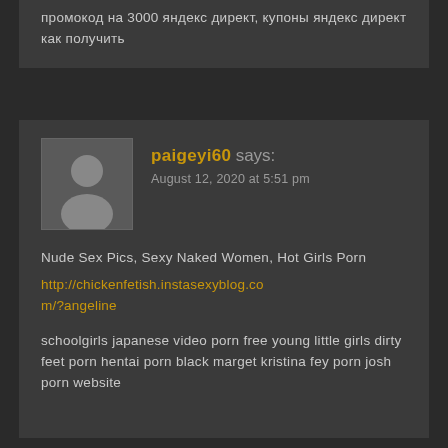промокод на 3000 яндекс директ, купоны яндекс директ как получить
paigeyi60 says:
August 12, 2020 at 5:51 pm
Nude Sex Pics, Sexy Naked Women, Hot Girls Porn
http://chickenfetish.instasexyblog.com/?angeline
schoolgirls japanese video porn free young little girls dirty feet porn hentai porn black marget kristina fey porn josh porn website